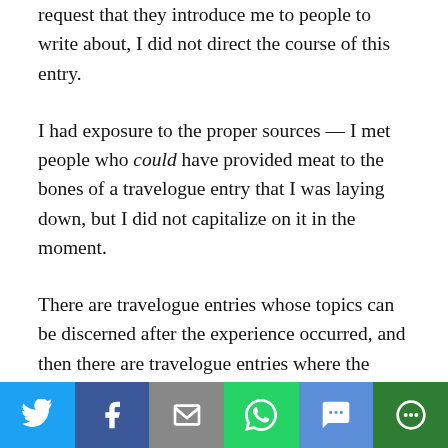request that they introduce me to people to write about, I did not direct the course of this entry.
I had exposure to the proper sources — I met people who could have provided meat to the bones of a travelogue entry that I was laying down, but I did not capitalize on it in the moment.
There are travelogue entries whose topics can be discerned after the experience occurred, and then there are travelogue entries where the topics must be identified in advance of the experience. Sometimes you need to have an idea of where you want to go in order to...
[Figure (infographic): Social media share bar with buttons: Twitter (blue), Facebook (dark blue), Email (grey), WhatsApp (green), SMS (blue), More (dark green)]